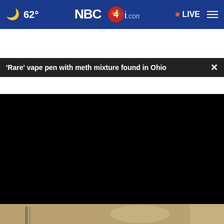🌙 62° NBC4i.com · LIVE ☰
'Rare' vape pen with meth mixture found in Ohio
[Figure (screenshot): Video player showing a black/dark video frame with progress bar at bottom and controls: play button, mute button, timestamp 00:00, CC button, fullscreen button]
[Figure (photo): Partial photo visible at bottom of page showing decorative items on a shelf]
NCMIC
Equipment Financing for DCs
OPEN